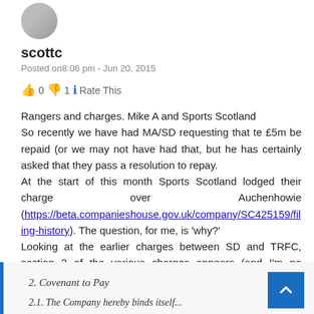[Figure (photo): Small circular avatar photo of user scottc]
scottc
Posted on8:06 pm - Jun 20, 2015
👍 0 👎 1 ℹ️ Rate This
Rangers and charges. Mike A and Sports Scotland
So recently we have had MA/SD requesting that te £5m be repaid (or we may not have had that, but he has certainly asked that they pass a resolution to repay.
At the start of this month Sports Scotland lodged their charge over Auchenhowie (https://beta.companieshouse.gov.uk/company/SC425159/filing-history). The question, for me, is 'why?'
Looking at the earlier charges between SD and TRFC, section 2 of the various charges appears (and I'm no lawyer) to be a covenant to pay on demand
2. Covenant to Pay
2.1. The Company hereby binds itself...